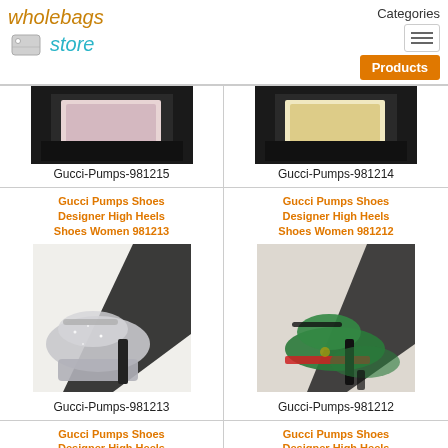[Figure (logo): Wholebags Store logo with tag icon]
Categories
[Figure (screenshot): Navigation hamburger menu icon and Products button]
[Figure (photo): Product photo of Gucci Pumps 981215 - glittery pink shoes in box]
Gucci-Pumps-981215
[Figure (photo): Product photo of Gucci Pumps 981214 - gold glittery shoes in box]
Gucci-Pumps-981214
Gucci Pumps Shoes Designer High Heels Shoes Women 981213
Gucci Pumps Shoes Designer High Heels Shoes Women 981212
[Figure (photo): Product photo of Gucci Pumps 981213 - silver glitter platform heels]
Gucci-Pumps-981213
[Figure (photo): Product photo of Gucci Pumps 981212 - green and red high heels]
Gucci-Pumps-981212
Gucci Pumps Shoes Designer High Heels
Gucci Pumps Shoes Designer High Heels